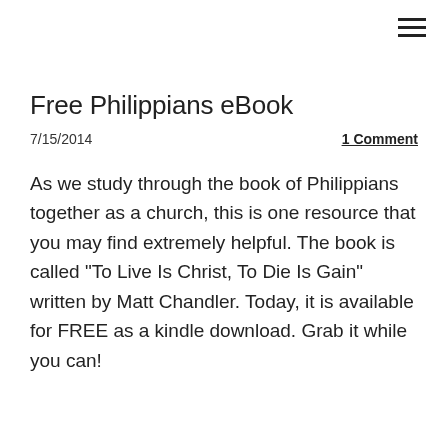≡
Free Philippians eBook
7/15/2014
1 Comment
As we study through the book of Philippians together as a church, this is one resource that you may find extremely helpful. The book is called "To Live Is Christ, To Die Is Gain" written by Matt Chandler. Today, it is available for FREE as a kindle download. Grab it while you can!